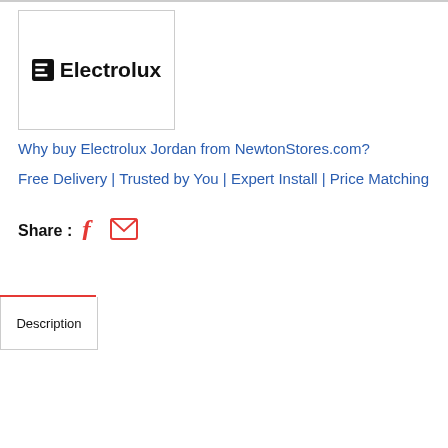[Figure (logo): Electrolux brand logo with the stylized 'E' icon and 'Electrolux' wordmark in bold black text, inside a rectangular bordered box]
Why buy Electrolux Jordan from NewtonStores.com?
Free Delivery | Trusted by You | Expert Install | Price Matching
Share :
Description